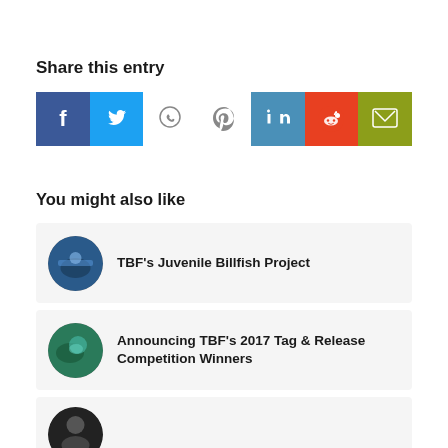Share this entry
[Figure (infographic): Social share buttons: Facebook (blue), Twitter (light blue), WhatsApp (outline), Pinterest (outline), LinkedIn (steel blue), Reddit (orange-red), Email (olive green)]
You might also like
TBF's Juvenile Billfish Project
Announcing TBF's 2017 Tag & Release Competition Winners